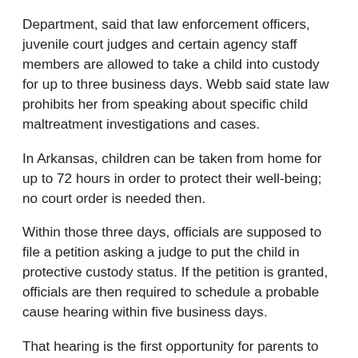Department, said that law enforcement officers, juvenile court judges and certain agency staff members are allowed to take a child into custody for up to three business days. Webb said state law prohibits her from speaking about specific child maltreatment investigations and cases.
In Arkansas, children can be taken from home for up to 72 hours in order to protect their well-being; no court order is needed then.
Within those three days, officials are supposed to file a petition asking a judge to put the child in protective custody status. If the petition is granted, officials are then required to schedule a probable cause hearing within five business days.
That hearing is the first opportunity for parents to formally try to get their children back.
Gillham said these Arkansas laws deny separated families due process.